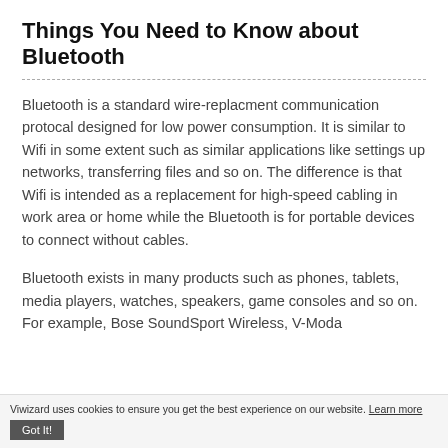Things You Need to Know about Bluetooth
Bluetooth is a standard wire-replacment communication protocal designed for low power consumption. It is similar to Wifi in some extent such as similar applications like settings up networks, transferring files and so on. The difference is that Wifi is intended as a replacement for high-speed cabling in work area or home while the Bluetooth is for portable devices to connect without cables.
Bluetooth exists in many products such as phones, tablets, media players, watches, speakers, game consoles and so on. For example, Bose SoundSport Wireless, V-Moda ...
Viwizard uses cookies to ensure you get the best experience on our website. Learn more  Got It!